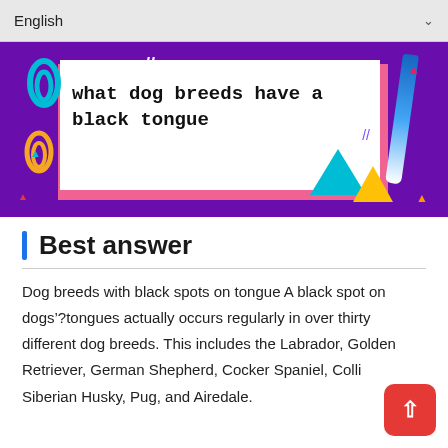English
[Figure (illustration): Colorful banner on purple background with a white card displaying 'what dog breeds have a black tongue' in bold monospace font, decorative paperclips, geometric shapes, and a blue pen]
Best answer
Dog breeds with black spots on tongue A black spot on dogs’ tongues actually occurs regularly in over thirty different dog breeds. This includes the Labrador, Golden Retriever, German Shepherd, Cocker Spaniel, Collie, Siberian Husky, Pug, and Airedale.